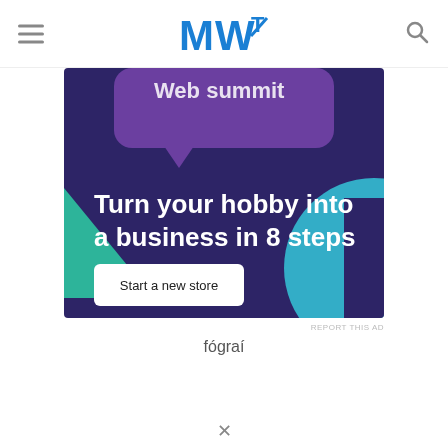MWT (logo) with hamburger menu and search icon
[Figure (infographic): Advertisement banner with dark purple background. Shows decorative speech bubble shapes and geometric teal/cyan shapes. Text reads 'Turn your hobby into a business in 8 steps' with a white 'Start a new store' button.]
REPORT THIS AD
fógraí